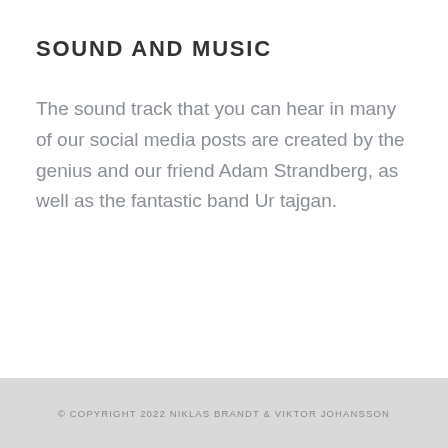SOUND AND MUSIC
The sound track that you can hear in many of our social media posts are created by the genius and our friend Adam Strandberg, as well as the fantastic band Ur tajgan.
© COPYRIGHT 2022 NIKLAS BRANDT & VIKTOR JOHANSSON